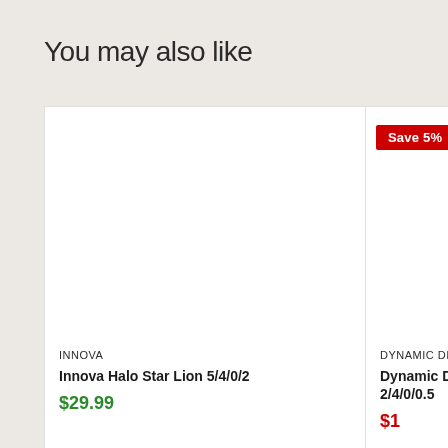You may also like
[Figure (screenshot): Product card for Innova Halo Star Lion 5/4/0/2, white background, no product image shown, price $29.99]
INNOVA
Innova Halo Star Lion 5/4/0/2
$29.99
[Figure (screenshot): Product card for Dynamic Discs Lucid 2/4/0/0.5 with Save 5% badge in red, white background, partially visible]
DYNAMIC DISCS
Dynamic Discs Lucid 2/4/0/0.5
Save 5%